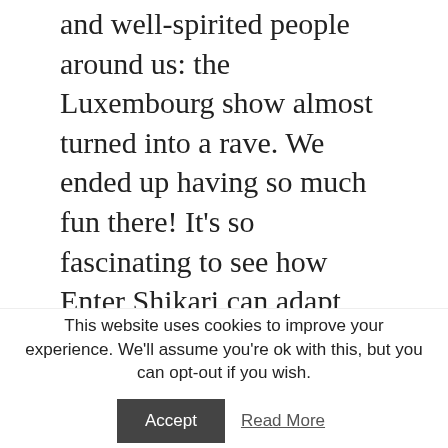and well-spirited people around us: the Luxembourg show almost turned into a rave. We ended up having so much fun there! It's so fascinating to see how Enter Shikari can adapt their show to all these different requirements: no matter which venue size or what type of crowd they encounter, the show is different, but always great in its own way. Chris, Rou, Rob and Rory rocked from one song to the next, always making sure that the fast pace wasn't weakening.
This website uses cookies to improve your experience. We'll assume you're ok with this, but you can opt-out if you wish.